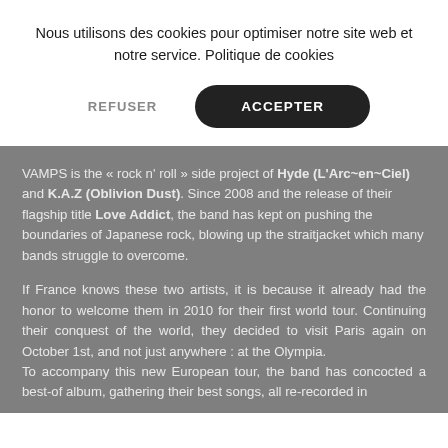Nous utilisons des cookies pour optimiser notre site web et notre service. Politique de cookies
REFUSER
ACCEPTER
VAMPS is the « rock n' roll » side project of Hyde (L'Arc~en~Ciel) and K.A.Z (Oblivion Dust). Since 2008 and the release of their flagship title Love Addict, the band has kept on pushing the boundaries of Japanese rock, blowing up the straitjacket which many bands struggle to overcome.
If France knows these two artists, it is because it already had the honor to welcome them in 2010 for their first world tour. Continuing their conquest of the world, they decided to visit Paris again on October 1st, and not just anywhere : at the Olympia. To accompany this new European tour, the band has concocted a best-of album, gathering their best songs, all re-recorded in